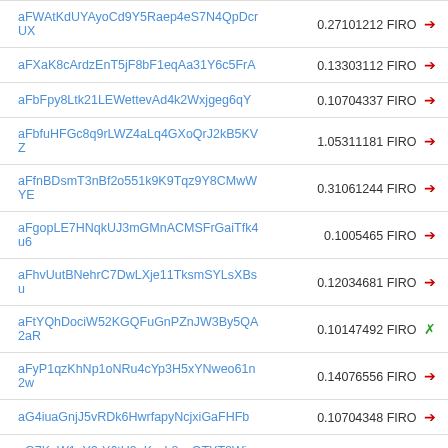| Address | Amount |
| --- | --- |
| aFWAtKdUYAyoCd9Y5Raep4eS7N4QpDcrUX | 0.27101212 FIRO → |
| aFXaK8cArdzEnT5jF8bF1eqAa31Y6c5FrA | 0.13303112 FIRO → |
| aFbFpy8Ltk21LEWettevAd4k2Wxjgeg6qY | 0.10704337 FIRO → |
| aFbfuHFGc8q9rLWZ4aLq4GXoQrJ2kB5KVZ | 1.05311181 FIRO → |
| aFfnBDsmT3nBf2o551k9K9Tqz9Y8CMwWYE | 0.31061244 FIRO → |
| aFgopLE7HNqkUJ3mGMnACMSFrGaiTfk4u6 | 0.1005465 FIRO → |
| aFhvUutBNehrC7DwLXje11TksmSYLsXBsu | 0.12034681 FIRO → |
| aFtYQhDociW52KGQFuGnPZnJW3By5QA2aR | 0.10147492 FIRO ✗ |
| aFyP1qzKhNp1oNRu4cYp3H5xYNweo61n2w | 0.14076556 FIRO → |
| aG4iuaGnjJ5vRDk6HwrfapyNcjxiGaFHFb | 0.10704348 FIRO → |
| aG7KuW1pY9rY6tH9uKcsh8azQTYT8Wimb6 | 0.12931859 FIRO → |
| aG7xMmfk8yzuJNG9x7tuQhA2pearjxMjob | 0.11323092 FIRO → |
| aG99sNkn53bz8L3XYq7UK2eDyQuLsSVMog | 0.10333103 FIRO → |
| aGEiMycgPoRpyy8KViiLL5k7JMaRPRb7qy | 0.1191093 FIRO → |
| aGKDXq8xUoDkDDunDEA3ouKGYLDXamQdDd | 0.18005613 FIRO → |